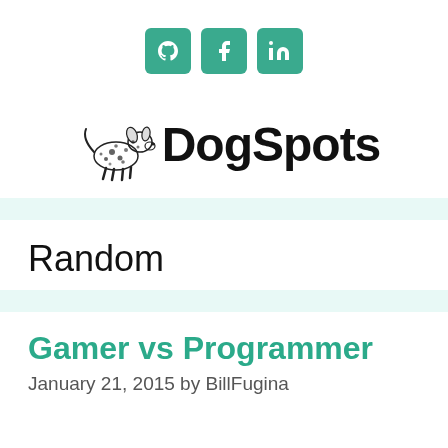[Figure (logo): Three social media icon buttons (GitHub, Facebook, LinkedIn) with teal/green background]
[Figure (logo): DogSpots logo with Dalmatian dog illustration and DogSpots text]
Random
Gamer vs Programmer
January 21, 2015 by BillFugina